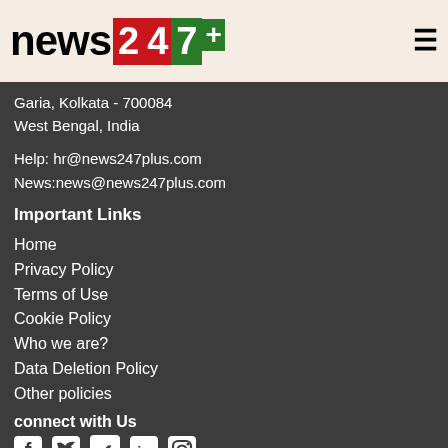news247+ logo and hamburger menu
Garia, Kolkata - 700084
West Bengal, India
Help: hr@news247plus.com
News:news@news247plus.com
Important Links
Home
Privacy Policy
Terms of Use
Cookie Policy
Who we are?
Data Deletion Policy
Other policies
connect with Us
[Figure (infographic): Social media icons: Facebook, Twitter, LinkedIn, Instagram]